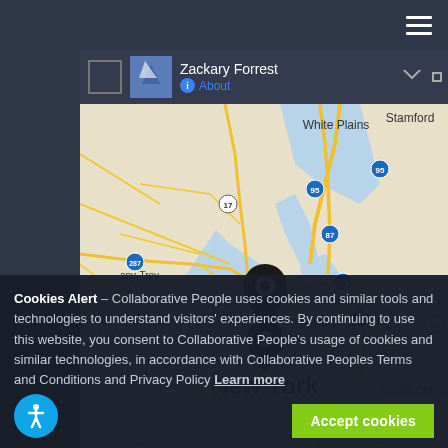[Figure (screenshot): Navigation bar with hamburger menu icon on dark background]
Zackary Forrest
About
[Figure (map): Google Maps view showing New York City area including Manhattan, Queens, White Plains, Stamford, Garden City, with two location pin markers on Manhattan/New York area]
Cookies Alert – Collaborative People uses cookies and similar tools and technologies to understand visitors' experiences. By continuing to use this website, you consent to Collaborative People's usage of cookies and similar technologies, in accordance with Collaborative Peoples Terms and Conditions and Privacy Policy Learn more
Accept cookies